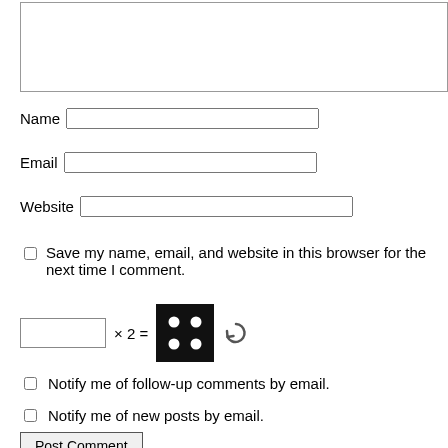[Figure (screenshot): Comment textarea input box (top portion visible)]
Name
Email
Website
Save my name, email, and website in this browser for the next time I comment.
[Figure (other): CAPTCHA: input box × 2 = [black square with 4 white dots] and refresh icon]
Notify me of follow-up comments by email.
Notify me of new posts by email.
Post Comment